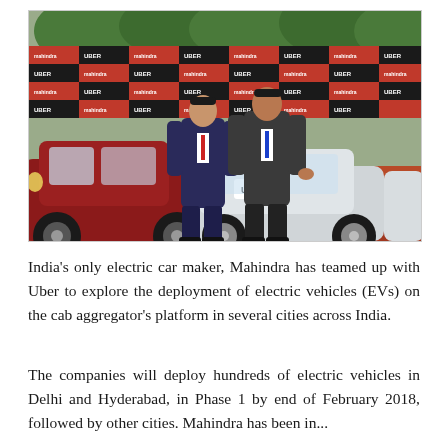[Figure (photo): Two men in business suits standing in front of a Mahindra-Uber branded checkered backdrop between electric vehicles on a red carpet. A dark red/maroon Mahindra electric car is on the left, and a white Mahindra electric car with 'UBER' branding is in the center-right. The backdrop shows alternating black and white tiles with 'Mahindra' and 'UBER' logos.]
India's only electric car maker, Mahindra has teamed up with Uber to explore the deployment of electric vehicles (EVs) on the cab aggregator's platform in several cities across India.
The companies will deploy hundreds of electric vehicles in Delhi and Hyderabad, in Phase 1 by end of February 2018, followed by other cities. Mahindra has been in...